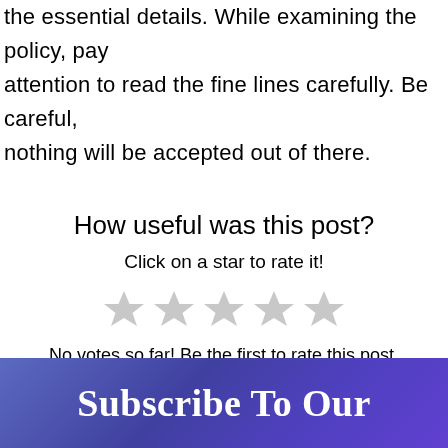the essential details. While examining the policy, pay attention to read the fine lines carefully. Be careful, nothing will be accepted out of there.
How useful was this post?
Click on a star to rate it!
[Figure (illustration): Five empty/unrated gray star icons for rating]
No votes so far! Be the first to rate this post.
Subscribe To Our